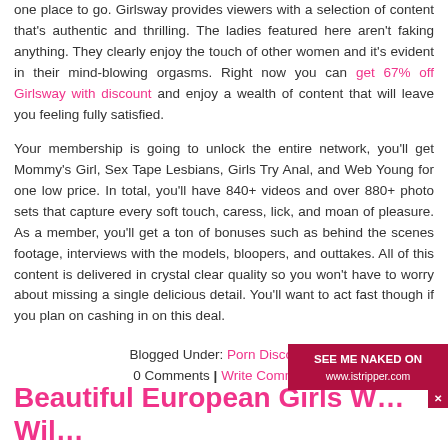one place to go. Girlsway provides viewers with a selection of content that's authentic and thrilling. The ladies featured here aren't faking anything. They clearly enjoy the touch of other women and it's evident in their mind-blowing orgasms. Right now you can get 67% off Girlsway with discount and enjoy a wealth of content that will leave you feeling fully satisfied.
Your membership is going to unlock the entire network, you'll get Mommy's Girl, Sex Tape Lesbians, Girls Try Anal, and Web Young for one low price. In total, you'll have 840+ videos and over 880+ photo sets that capture every soft touch, caress, lick, and moan of pleasure. As a member, you'll get a ton of bonuses such as behind the scenes footage, interviews with the models, bloopers, and outtakes. All of this content is delivered in crystal clear quality so you won't have to worry about missing a single delicious detail. You'll want to act fast though if you plan on cashing in on this deal.
Blogged Under: Porn Discounts
0 Comments | Write Comment
Beautiful European Girls W… Wild…